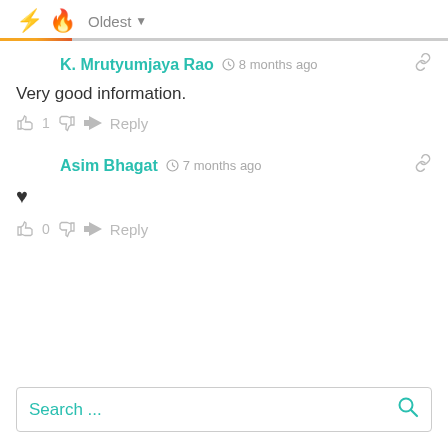⚡ 🔥 Oldest ▼
K. Mrutyumjaya Rao  🕐 8 months ago
Very good information.
👍 1 👎  ➜ Reply
Asim Bhagat  🕐 7 months ago
♥
👍 0 👎  ➜ Reply
Search ...